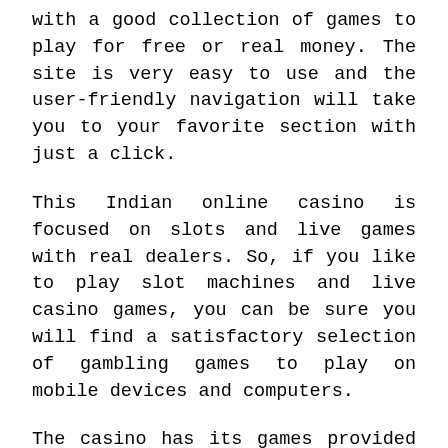with a good collection of games to play for free or real money. The site is very easy to use and the user-friendly navigation will take you to your favorite section with just a click.
This Indian online casino is focused on slots and live games with real dealers. So, if you like to play slot machines and live casino games, you can be sure you will find a satisfactory selection of gambling games to play on mobile devices and computers.
The casino has its games provided by the best game studios including Evolution, Betgames, Booongo, Playson, Pragmatic Live, Pragmatic, Endorphina, Ezugi, VivoGaming, and more. The large list of game studios will result in casino games in different styles to please